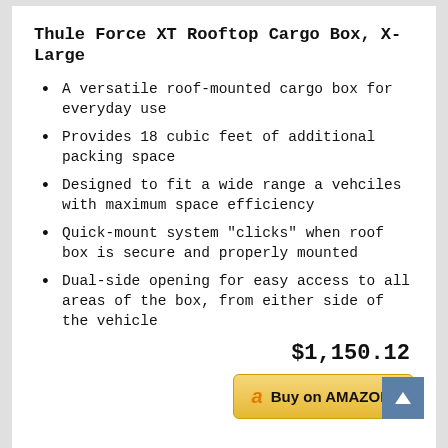Thule Force XT Rooftop Cargo Box, X-Large
A versatile roof-mounted cargo box for everyday use
Provides 18 cubic feet of additional packing space
Designed to fit a wide range a vehciles with maximum space efficiency
Quick-mount system "clicks" when roof box is secure and properly mounted
Dual-side opening for easy access to all areas of the box, from either side of the vehicle
$1,150.12
[Figure (other): Buy on AMAZON button with Amazon logo 'a' and a blue scroll-to-top arrow button]